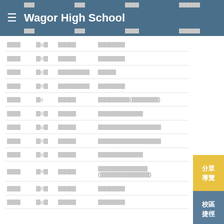Wagor High School
| □□□ | □○□ | □□□□ | □□□□□□ |
| □□□ | □○□ | □□□□ | □□□□□□ |
| □□□ | □○□ | □□□□□□□ | □□□□ |
| □□□ | □○□ | □□□□□□□ | □□□□□□ |
| □□□ | □○ | □□□□ | □□□□□□□(□□□□□□) |
| □□□ | □○□ | □□□□ | □□□□□□□□□□ |
| □□□ | □○□ | □□□□ | □□□□□□□□□□□□□□ |
| □□□ | □○□ | □□□□ | □□□□□□□□□□□□□□ |
| □□□ | □○□ | □□□□ | □□□□□□□□□□ |
| □□□ | □○□ | □□□□ | □□□□□□□□□□□
(□□□□□□□□□□□) |
| □□□ | □○□ | □□□□ | □□□□□□ |
| □□□ | □○□ | □□□□ | □□□□□□ |
[Figure (infographic): Yellow button labeled 分眾導覽, blue button labeled 校區捷徑, green up-arrow button]